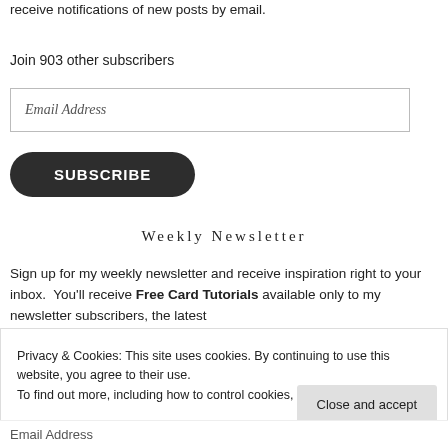receive notifications of new posts by email.
Join 903 other subscribers
Email Address
SUBSCRIBE
Weekly Newsletter
Sign up for my weekly newsletter and receive inspiration right to your inbox. You'll receive Free Card Tutorials available only to my newsletter subscribers, the latest
Privacy & Cookies: This site uses cookies. By continuing to use this website, you agree to their use.
To find out more, including how to control cookies, see here: Cookie Policy
Close and accept
Email Address